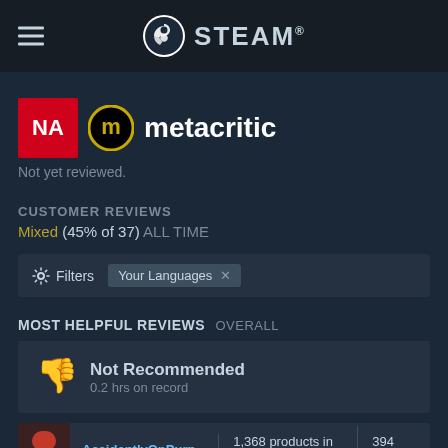STEAM
[Figure (logo): Metacritic NA badge and metacritic logo with text 'metacritic']
Not yet reviewed.
CUSTOMER REVIEWS
Mixed (45% of 37) ALL TIME
Filters  Your Languages ×
MOST HELPFUL REVIEWS OVERALL
Not Recommended
0.2 hrs on record
AccidentlyOnPurp...  1,368 products in account  394 reviews